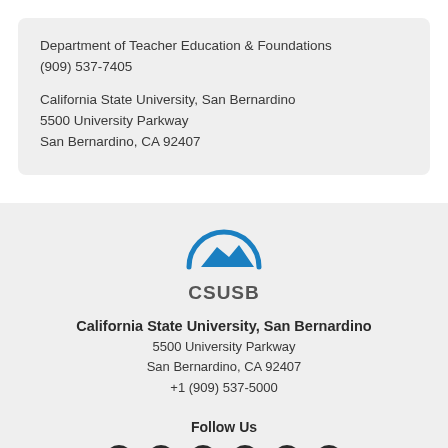Department of Teacher Education & Foundations
(909) 537-7405
California State University, San Bernardino
5500 University Parkway
San Bernardino, CA 92407
[Figure (logo): CSUSB logo: blue semicircle arc over blue mountain silhouette, with CSUSB text below]
California State University, San Bernardino
5500 University Parkway
San Bernardino, CA 92407
+1 (909) 537-5000
Follow Us
[Figure (illustration): Social media icons: Facebook, Twitter, YouTube, Instagram, LinkedIn, Globe/Web]